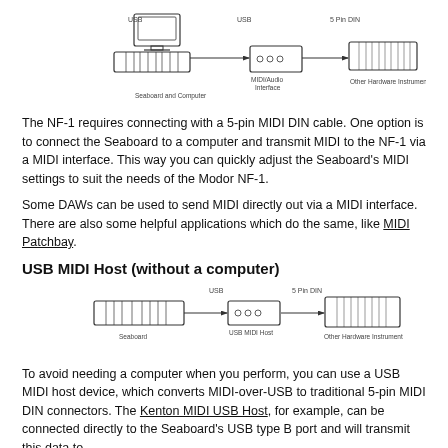[Figure (schematic): Diagram showing Seaboard and Computer connected via USB to a MIDI/Audio Interface, then via 5 Pin DIN to Other Hardware Instrument]
The NF-1 requires connecting with a 5-pin MIDI DIN cable. One option is to connect the Seaboard to a computer and transmit MIDI to the NF-1 via a MIDI interface. This way you can quickly adjust the Seaboard's MIDI settings to suit the needs of the Modor NF-1.
Some DAWs can be used to send MIDI directly out via a MIDI interface. There are also some helpful applications which do the same, like MIDI Patchbay.
USB MIDI Host (without a computer)
[Figure (schematic): Diagram showing Seaboard connected via USB to USB MIDI Host, then via 5 Pin DIN to Other Hardware Instrument]
To avoid needing a computer when you perform, you can use a USB MIDI host device, which converts MIDI-over-USB to traditional 5-pin MIDI DIN connectors. The Kenton MIDI USB Host, for example, can be connected directly to the Seaboard's USB type B port and will transmit this data to